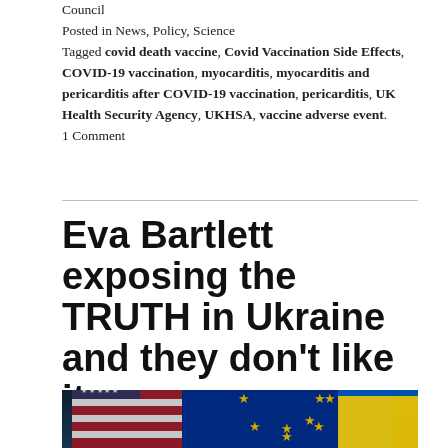Council
Posted in News, Policy, Science
Tagged covid death vaccine, Covid Vaccination Side Effects, COVID-19 vaccination, myocarditis, myocarditis and pericarditis after COVID-19 vaccination, pericarditis, UK Health Security Agency, UKHSA, vaccine adverse event. 1 Comment
Eva Bartlett exposing the TRUTH in Ukraine and they don’t like it.
[Figure (photo): Dark background image showing overlapping USA, EU, and Ukraine flags with a watermark reading 'Foreign Affairs Intelligence Council']